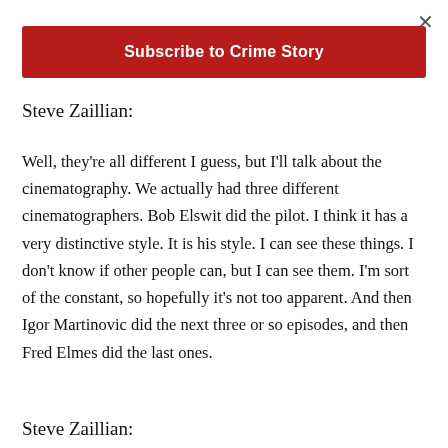[Figure (screenshot): Close button (×) in the top right corner of a modal overlay]
Subscribe to Crime Story
Steve Zaillian:
Well, they're all different I guess, but I'll talk about the cinematography. We actually had three different cinematographers. Bob Elswit did the pilot. I think it has a very distinctive style. It is his style. I can see these things. I don't know if other people can, but I can see them. I'm sort of the constant, so hopefully it's not too apparent. And then Igor Martinovic did the next three or so episodes, and then Fred Elmes did the last ones.
Steve Zaillian: